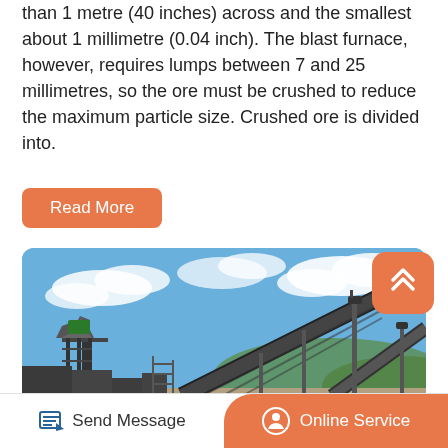than 1 metre (40 inches) across and the smallest about 1 millimetre (0.04 inch). The blast furnace, however, requires lumps between 7 and 25 millimetres, so the ore must be crushed to reduce the maximum particle size. Crushed ore is divided into.
[Figure (other): Orange rounded rectangle button labelled 'Read More']
[Figure (photo): Outdoor photo of industrial mining/ore processing facility with conveyor belts, metal structures and towers under a blue sky with white clouds]
[Figure (other): Orange rounded square scroll-to-top button with double chevron/arrow icon]
Send Message | Online Service